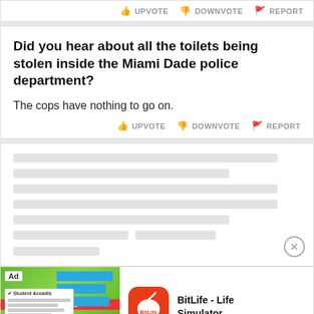UPVOTE  DOWNVOTE  REPORT
Did you hear about all the toilets being stolen inside the Miami Dade police department?
The cops have nothing to go on.
UPVOTE  DOWNVOTE  REPORT
[Figure (screenshot): Blurred/redacted content card with gray placeholder lines]
[Figure (screenshot): BitLife - Life Simulator advertisement with app icon and Install button]